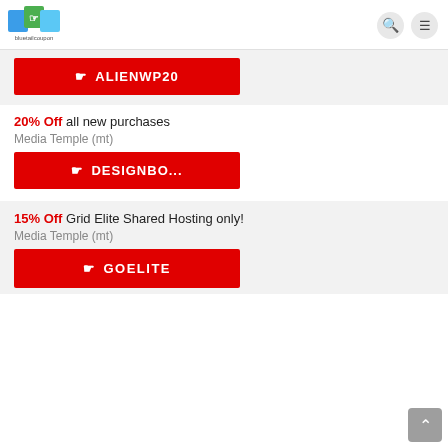bluetailcoupon
[Figure (other): Red coupon button with hand/click icon and text ALIENWP20]
20% Off all new purchases
Media Temple (mt)
[Figure (other): Red coupon button with hand/click icon and text DESIGNBO...]
15% Off Grid Elite Shared Hosting only!
Media Temple (mt)
[Figure (other): Red coupon button with hand/click icon and text GOELITE]